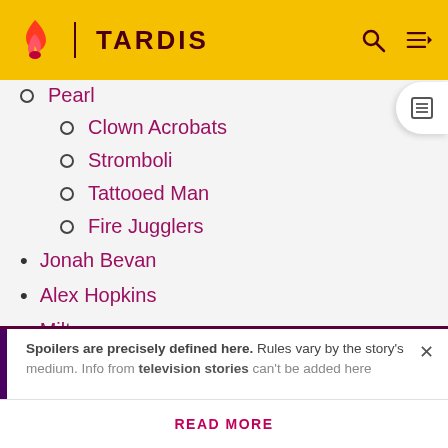TARDIS
Pearl (partial, clipped)
Clown Acrobats
Stromboli
Tattooed Man
Fire Jugglers
Jonah Bevan
Alex Hopkins
Milton
Tumour alien
Hoix
Three cowled men
Spoilers are precisely defined here. Rules vary by the story's medium. Info from television stories can't be added here
READ MORE